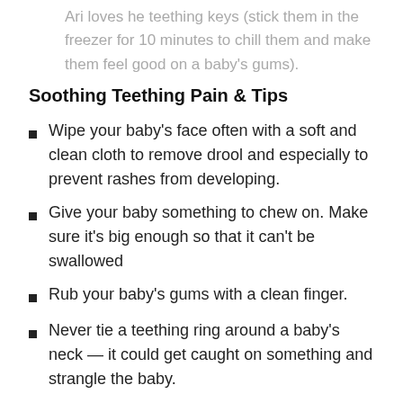Ari loves he teething keys (stick them in the freezer for 10 minutes to chill them and make them feel good on a baby's gums).
Soothing Teething Pain & Tips
Wipe your baby's face often with a soft and clean cloth to remove drool and especially to prevent rashes from developing.
Give your baby something to chew on. Make sure it's big enough so that it can't be swallowed
Rub your baby's gums with a clean finger.
Never tie a teething ring around a baby's neck — it could get caught on something and strangle the baby.
If your baby seems irritable, acetaminophen may help — but always consult your doctor first. Never place an aspirin against the tooth, and don't rub alcohol on your baby's...